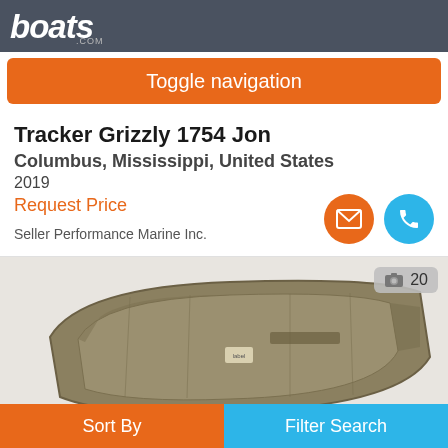boats.com
Toggle navigation
Tracker Grizzly 1754 Jon
Columbus, Mississippi, United States
2019
Request Price
Seller Performance Marine Inc.
[Figure (photo): Photo of a tan/olive Jon boat (flat-bottomed aluminum boat) viewed from above and the side, showing the interior and flat bow]
20
Sort By
Filter Search